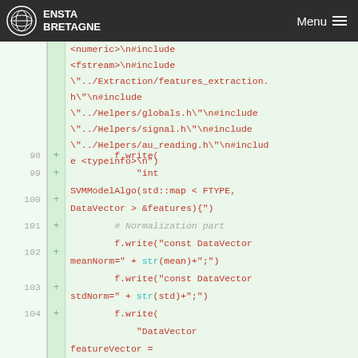ENSTA BRETAGNE  Menu
<numeric>\n#include <fstream>\n#include \"../Extraction/features_extraction.h\"\n#include \"../Helpers/globals.h\"\n#include \"../Helpers/signal.h\"\n#include \"../Helpers/au_reading.h\"\n#include <typeinfo>\n")
98  +        f.write(
99  +            "int SVMModelAlgo(std::map < FTYPE, DataVector > &features){"
100 +        # Normalization part
101 +        f.write("const DataVector meanNorm=" + str(mean)+";")
102 +        f.write("const DataVector stdNorm=" + str(std)+";")
103 +        f.write(
104 +            "DataVector featureVector =